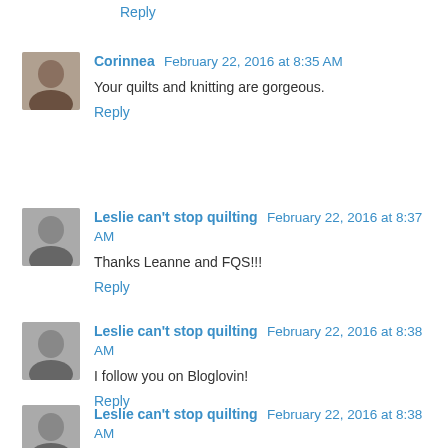Reply
Corinnea  February 22, 2016 at 8:35 AM
Your quilts and knitting are gorgeous.
Reply
Leslie can't stop quilting  February 22, 2016 at 8:37 AM
Thanks Leanne and FQS!!!
Reply
Leslie can't stop quilting  February 22, 2016 at 8:38 AM
I follow you on Bloglovin!
Reply
Leslie can't stop quilting  February 22, 2016 at 8:38 AM